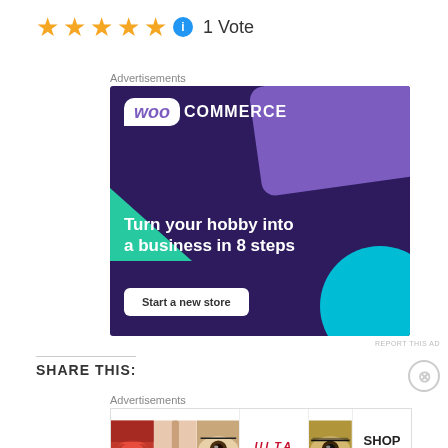★★★★★ ℹ 1 Vote
Advertisements
[Figure (illustration): WooCommerce advertisement banner with purple background, teal triangle, blue circle, WooCommerce logo, text 'Turn your hobby into a business in 8 steps', and 'Start a new store' button]
REPORT THIS AD
Share This:
Advertisements
[Figure (illustration): Ulta Beauty advertisement strip showing beauty product images including lips, brush, eye, Ulta logo, eye makeup, and SHOP NOW text]